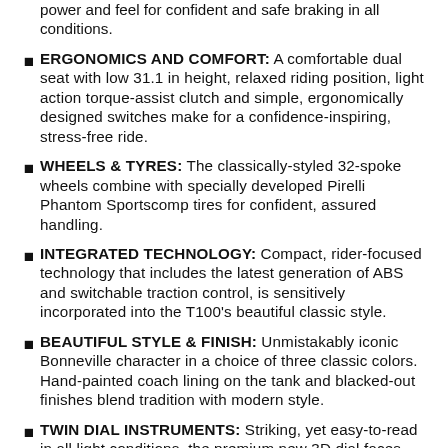power and feel for confident and safe braking in all conditions.
ERGONOMICS AND COMFORT: A comfortable dual seat with low 31.1 in height, relaxed riding position, light action torque-assist clutch and simple, ergonomically designed switches make for a confidence-inspiring, stress-free ride.
WHEELS & TYRES: The classically-styled 32-spoke wheels combine with specially developed Pirelli Phantom Sportscomp tires for confident, assured handling.
INTEGRATED TECHNOLOGY: Compact, rider-focused technology that includes the latest generation of ABS and switchable traction control, is sensitively incorporated into the T100's beautiful classic style.
BEAUTIFUL STYLE & FINISH: Unmistakably iconic Bonneville character in a choice of three classic colors. Hand-painted coach lining on the tank and blacked-out finishes blend tradition with modern style.
TWIN DIAL INSTRUMENTS: Striking, yet easy-to-read in all light conditions, the premium new 3D dial faces deliver all of the key information with precision and clarity.
SAFETY: A high-visibility LED rear light, quality Brembo brakes